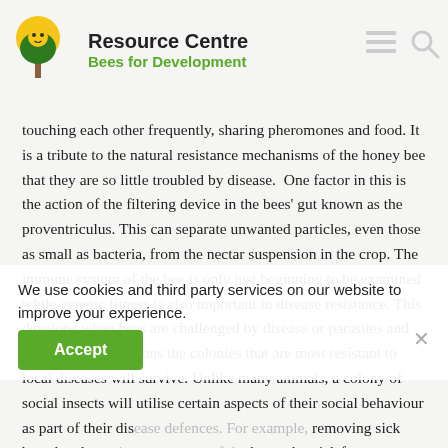Resource Centre — Bees for Development
touching each other frequently, sharing pheromones and food. It is a tribute to the natural resistance mechanisms of the honey bee that they are so little troubled by disease. One factor in this is the action of the filtering device in the bees' gut known as the proventriculus. This can separate unwanted particles, even those as small as bacteria, from the nectar suspension in the crop. The immune system of the bee is only just beginning to be examined while genetic fitness is also important in disease resistance. This develops when bees are challenged by disease or parasites and over many generations the colonies that are most resistant to local diseases will survive. Unlike many animals, a colony of social insects will utilise certain aspects of their social behaviour as part of their disease defences. For example, removing sick brood and... an important part of the honey bees' defence mechan... um example, if a colony of African bees is severely infe... the Small Hive Beetle
We use cookies and third party services on our website to improve your experience.